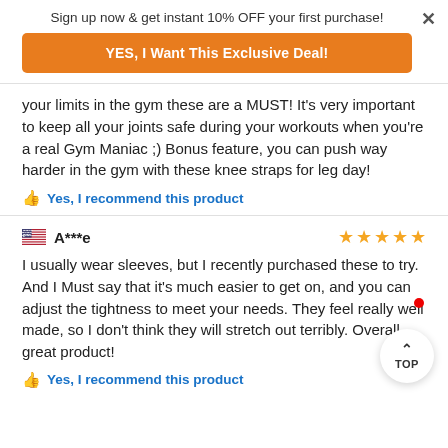Sign up now & get instant 10% OFF your first purchase!
YES, I Want This Exclusive Deal!
your limits in the gym these are a MUST! It's very important to keep all your joints safe during your workouts when you're a real Gym Maniac ;) Bonus feature, you can push way harder in the gym with these knee straps for leg day!
Yes, I recommend this product
A***e
I usually wear sleeves, but I recently purchased these to try. And I Must say that it's much easier to get on, and you can adjust the tightness to meet your needs. They feel really well made, so I don't think they will stretch out terribly. Overall, great product!
Yes, I recommend this product